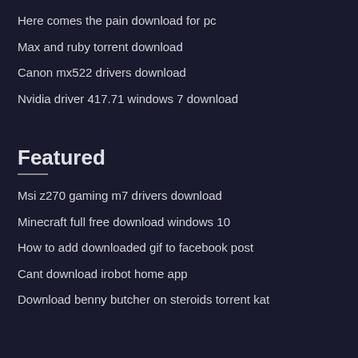Here comes the pain download for pc
Max and ruby torrent download
Canon mx522 drivers download
Nvidia driver 417.71 windows 7 download
Featured
Msi z270 gaming m7 drivers download
Minecraft full free download windows 10
How to add downloaded gif to facebook post
Cant download irobot home app
Download benny butcher on steroids torrent kat
Popular Posts
Nicktoons unite pc download